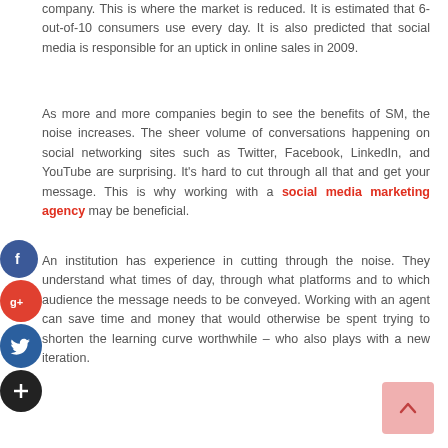company. This is where the market is reduced. It is estimated that 6-out-of-10 consumers use every day. It is also predicted that social media is responsible for an uptick in online sales in 2009.
As more and more companies begin to see the benefits of SM, the noise increases. The sheer volume of conversations happening on social networking sites such as Twitter, Facebook, LinkedIn, and YouTube are surprising. It's hard to cut through all that and get your message. This is why working with a social media marketing agency may be beneficial.
An institution has experience in cutting through the noise. They understand what times of day, through what platforms and to which audience the message needs to be conveyed. Working with an agent can save time and money that would otherwise be spent trying to shorten the learning curve worthwhile – who also plays with a new iteration.
[Figure (illustration): Social media share sidebar icons: Facebook (blue circle), Google+ (red circle), Twitter (dark blue circle), Plus/Share (black circle)]
[Figure (illustration): Back to top button: pink/salmon colored square with upward arrow]